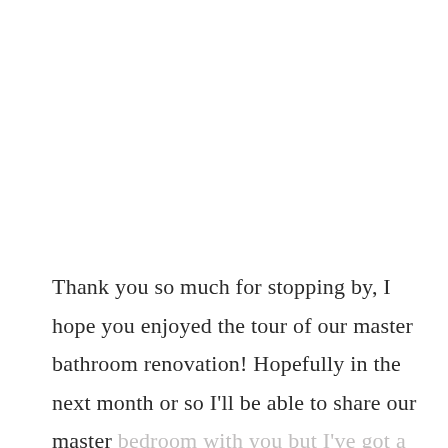Thank you so much for stopping by, I hope you enjoyed the tour of our master bathroom renovation! Hopefully in the next month or so I'll be able to share our master bedroom with you but I've got a lot of work